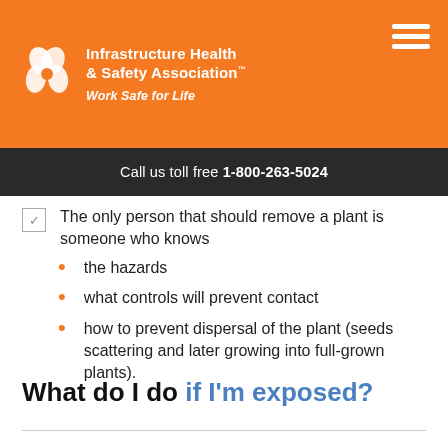[Figure (logo): Infrastructure Health & Safety Association logo with flower/shield icon and tagline 'Work Safe for Life']
Call us toll free 1-800-263-5024
The only person that should remove a plant is someone who knows
the hazards
what controls will prevent contact
how to prevent dispersal of the plant (seeds scattering and later growing into full-grown plants).
What do I do if I'm exposed?